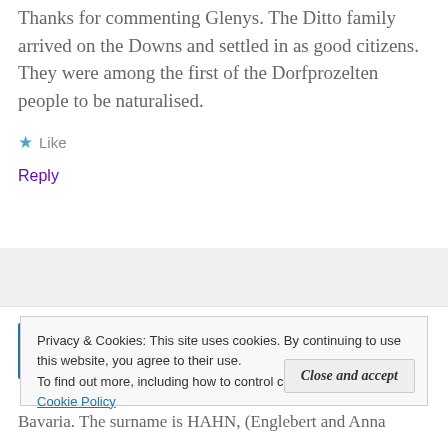Thanks for commenting Glenys. The Ditto family arrived on the Downs and settled in as good citizens. They were among the first of the Dorfprozelten people to be naturalised.
★ Like
Reply
Rhonda Macrae   24 April, 2016 at 11:29 pm
Privacy & Cookies: This site uses cookies. By continuing to use this website, you agree to their use.
To find out more, including how to control cookies, see here: Cookie Policy
Close and accept
Bavaria. The surname is HAHN, (Englebert and Anna